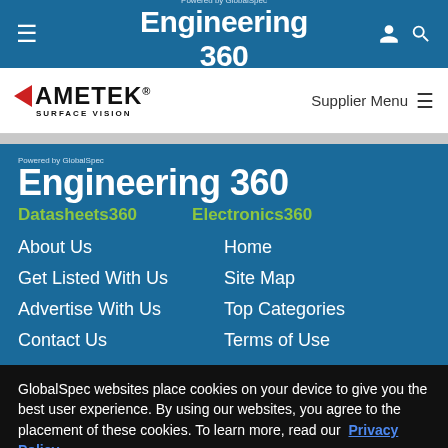Powered by GlobalSpec Engineering 360
[Figure (logo): AMETEK Surface Vision logo with red triangle and black bold text]
Supplier Menu
[Figure (logo): Powered by GlobalSpec Engineering 360 large logo on blue background]
Datasheets360
Electronics360
About Us
Home
Get Listed With Us
Site Map
Advertise With Us
Top Categories
Contact Us
Terms of Use
GlobalSpec websites place cookies on your device to give you the best user experience. By using our websites, you agree to the placement of these cookies. To learn more, read our Privacy Policy